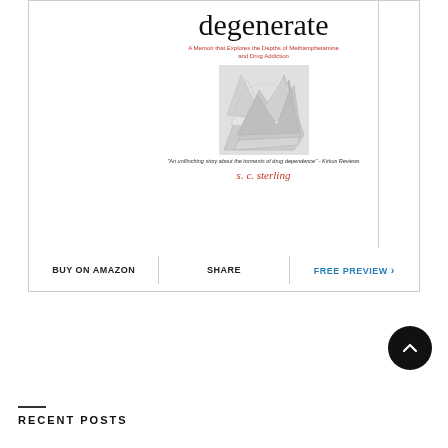[Figure (illustration): Book cover for 'degenerate' by s. c. sterling — a memoir about methamphetamine and drug addiction. Cover shows crumpled foil with serif title text in black, subtitle in red, author name in red italic at bottom, and a pull quote from Kirkus Reviews.]
BUY ON AMAZON   SHARE   FREE PREVIEW >
RECENT POSTS